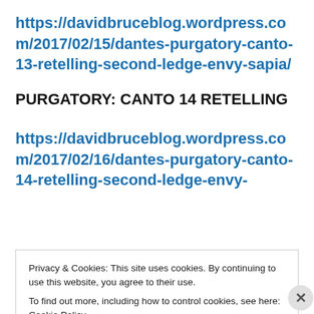https://davidbruceblog.wordpress.com/2017/02/15/dantes-purgatory-canto-13-retelling-second-ledge-envy-sapia/
PURGATORY: CANTO 14 RETELLING
https://davidbruceblog.wordpress.com/2017/02/16/dantes-purgatory-canto-14-retelling-second-ledge-envy-
Privacy & Cookies: This site uses cookies. By continuing to use this website, you agree to their use.
To find out more, including how to control cookies, see here: Cookie Policy